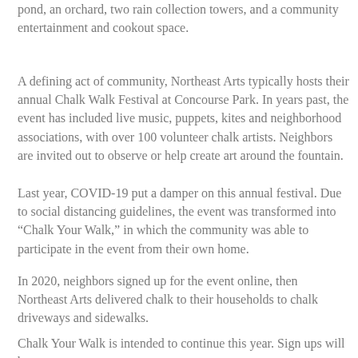pond, an orchard, two rain collection towers, and a community entertainment and cookout space.
A defining act of community, Northeast Arts typically hosts their annual Chalk Walk Festival at Concourse Park. In years past, the event has included live music, puppets, kites and neighborhood associations, with over 100 volunteer chalk artists. Neighbors are invited out to observe or help create art around the fountain.
Last year, COVID-19 put a damper on this annual festival. Due to social distancing guidelines, the event was transformed into “Chalk Your Walk,” in which the community was able to participate in the event from their own home.
In 2020, neighbors signed up for the event online, then Northeast Arts delivered chalk to their households to chalk driveways and sidewalks.
Chalk Your Walk is intended to continue this year. Sign ups will be on